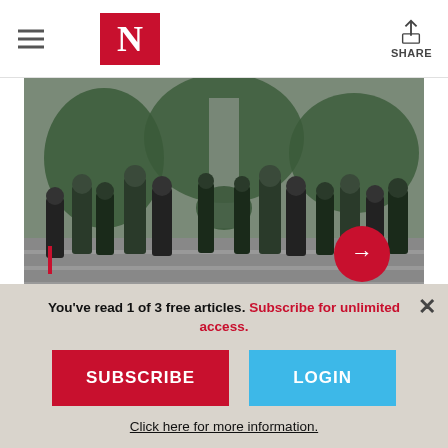N (The Nation logo) — SHARE
[Figure (photo): Group of men in military uniforms and suits ascending steps at a memorial or monument, viewed from behind.]
In his 1906 poem “On a General Election,” Hilaire Belloc wrote:
You’ve read 1 of 3 free articles. Subscribe for unlimited access.
SUBSCRIBE
LOGIN
Click here for more information.